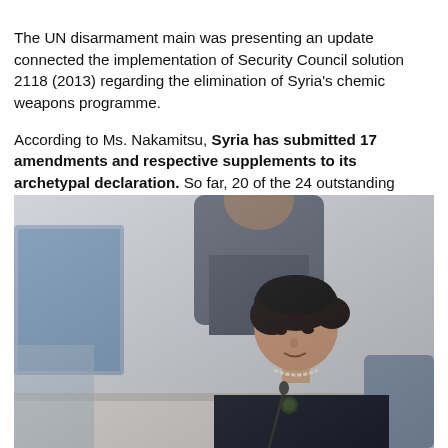The UN disarmament main was presenting an update connected the implementation of Security Council solution 2118 (2013) regarding the elimination of Syria's chemic weapons programme.
According to Ms. Nakamitsu, Syria has submitted 17 amendments and respective supplements to its archetypal declaration. So far, 20 of the 24 outstanding issues remain unresolved.
[Figure (photo): A woman (Ms. Nakamitsu) speaking at a UN Security Council meeting, wearing a dark jacket and pearl necklace, seated at a table with a microphone, with other delegates visible in the background.]